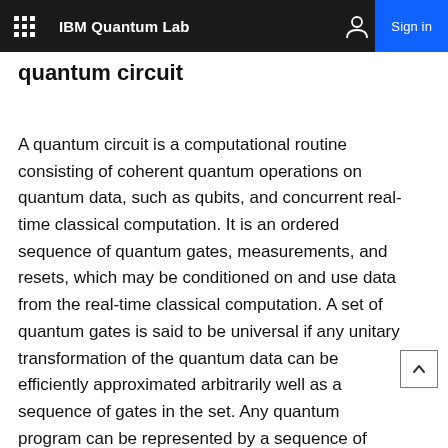IBM Quantum Lab  Sign in
quantum circuit
A quantum circuit is a computational routine consisting of coherent quantum operations on quantum data, such as qubits, and concurrent real-time classical computation. It is an ordered sequence of quantum gates, measurements, and resets, which may be conditioned on and use data from the real-time classical computation. A set of quantum gates is said to be universal if any unitary transformation of the quantum data can be efficiently approximated arbitrarily well as a sequence of gates in the set. Any quantum program can be represented by a sequence of quantum circuits and non-concurrent classical computation.